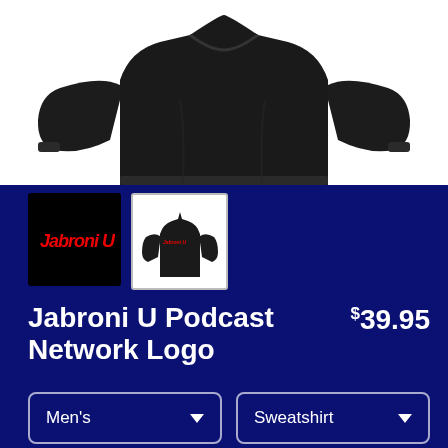[Figure (photo): Black crewneck sweatshirt on white background, top portion visible showing shoulders and collar]
[Figure (photo): Thumbnail 1: Black background with red Jabroni U text logo]
[Figure (photo): Thumbnail 2: Black crewneck sweatshirt with red Jabroni U logo on chest]
Jabroni U Podcast Network Logo
$39.95
Men's
Sweatshirt
SELECT YOUR FIT
$39.95
French Terry
$50.45
Sponge Fleece